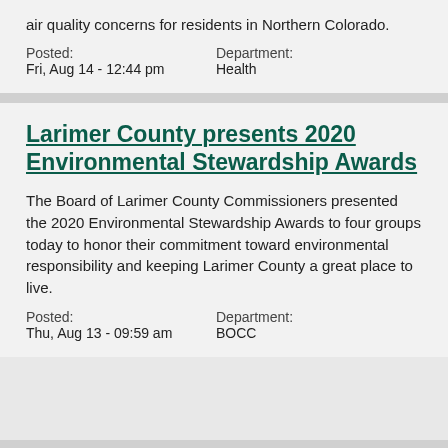air quality concerns for residents in Northern Colorado.
Posted:
Fri, Aug 14 - 12:44 pm
Department:
Health
Larimer County presents 2020 Environmental Stewardship Awards
The Board of Larimer County Commissioners presented the 2020 Environmental Stewardship Awards to four groups today to honor their commitment toward environmental responsibility and keeping Larimer County a great place to live.
Posted:
Thu, Aug 13 - 09:59 am
Department:
BOCC